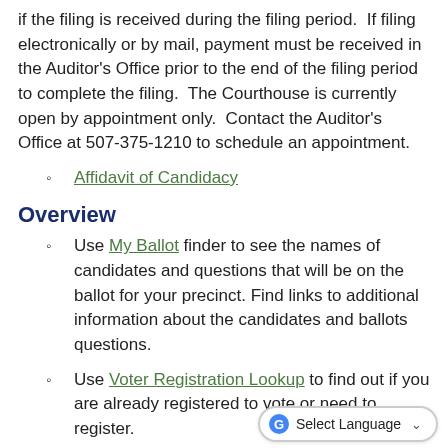if the filing is received during the filing period.  If filing electronically or by mail, payment must be received in the Auditor's Office prior to the end of the filing period to complete the filing.  The Courthouse is currently open by appointment only.  Contact the Auditor's Office at 507-375-1210 to schedule an appointment.
Affidavit of Candidacy
Overview
Use My Ballot finder to see the names of candidates and questions that will be on the ballot for your precinct. Find links to additional information about the candidates and ballots questions.
Use Voter Registration Lookup to find out if you are already registered to vote or need to register.
Use Absentee Ballot Status to find out the status